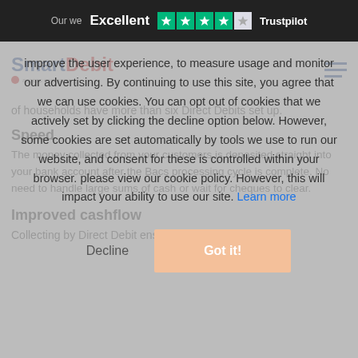Our we… Excellent ★★★★★ Trustpilot
[Figure (logo): SmartDebit logo with Access company tagline]
of households have more than six Direct Debits set up.
Speed
The money collected from your customers is deposited straight into your bank account after the Bacs processing cycle is complete. No need to handle large sums of cash or wait for cheques to clear.
Improved cashflow
Collecting by Direct Debit ensures that your
improve the user experience, to measure usage and monitor our advertising. By continuing to use this site, you agree that we can use cookies. You can opt out of cookies that we actively set by clicking the decline option below. However, some cookies are set automatically by tools we use to run our website, and consent for these is controlled within your browser. Please view our cookie policy. However, this will impact your ability to use our site. Learn more
Decline
Got it!